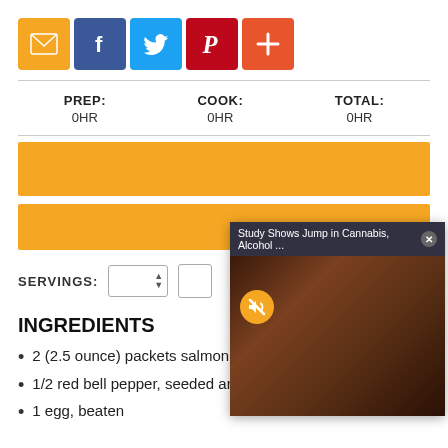[Figure (screenshot): Row of social sharing icons: email (orange), Facebook (blue), Twitter (cyan), Pinterest (red), plus/share (orange-red)]
| PREP: | COOK: | TOTAL: |
| --- | --- | --- |
| 0HR | 0HR | 0HR |
[Figure (infographic): Two orange horizontal bars representing recipe section headers (text obscured/loading)]
SERVINGS:
[Figure (screenshot): Video ad popup overlay: 'Study Shows Jump in Cannabis, Alcohol ...' with X close button, showing image of hands rolling cannabis with a mute button overlay]
INGREDIENTS
2 (2.5 ounce) packets salmon
1/2 red bell pepper, seeded and chopped
1 egg, beaten